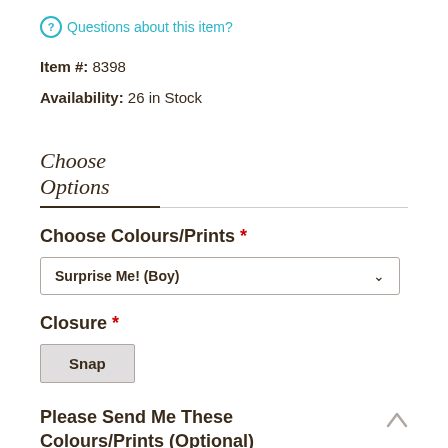Questions about this item?
Item #: 8398
Availability: 26 in Stock
Choose Options
Choose Colours/Prints *
Surprise Me! (Boy)
Closure *
Snap
Please Send Me These Colours/Prints (Optional)